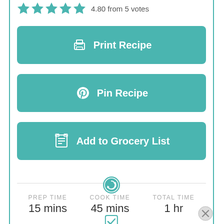4.80 from 5 votes
Print Recipe
Pin Recipe
Add to Grocery List
PREP TIME 15 mins
COOK TIME 45 mins
TOTAL TIME 1 hr
DIETS